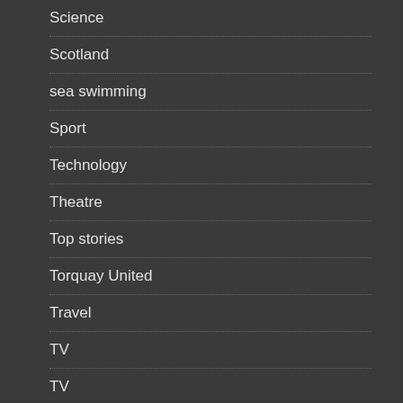Science
Scotland
sea swimming
Sport
Technology
Theatre
Top stories
Torquay United
Travel
TV
TV
Uncategorized
US Sports